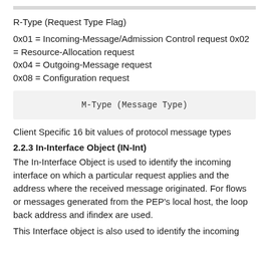R-Type (Request Type Flag)
0x01 = Incoming-Message/Admission Control request 0x02 = Resource-Allocation request
0x04 = Outgoing-Message request
0x08 = Configuration request
M-Type (Message Type)
Client Specific 16 bit values of protocol message types
2.2.3 In-Interface Object (IN-Int)
The In-Interface Object is used to identify the incoming interface on which a particular request applies and the address where the received message originated. For flows or messages generated from the PEP's local host, the loop back address and ifindex are used.
This Interface object is also used to identify the incoming